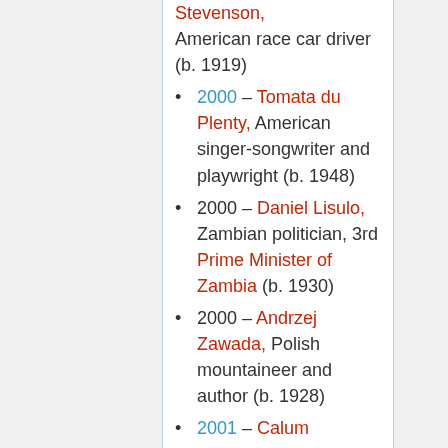Stevenson, American race car driver (b. 1919)
2000 – Tomata du Plenty, American singer-songwriter and playwright (b. 1948)
2000 – Daniel Lisulo, Zambian politician, 3rd Prime Minister of Zambia (b. 1930)
2000 – Andrzej Zawada, Polish mountaineer and author (b. 1928)
2001 – Calum